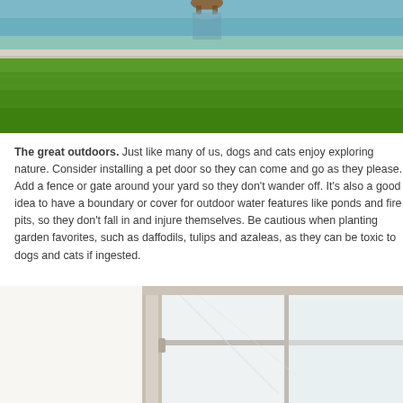[Figure (photo): Top portion of a photo showing a dog near a body of water with a retaining wall and green grass lawn below]
The great outdoors. Just like many of us, dogs and cats enjoy exploring nature. Consider installing a pet door so they can come and go as they please. Add a fence or gate around your yard so they don't wander off. It's also a good idea to have a boundary or cover for outdoor water features like ponds and fire pits, so they don't fall in and injure themselves. Be cautious when planting garden favorites, such as daffodils, tulips and azaleas, as they can be toxic to dogs and cats if ingested.
[Figure (photo): Bottom portion of a photo showing a glass sliding door or window frame with white/beige frame]